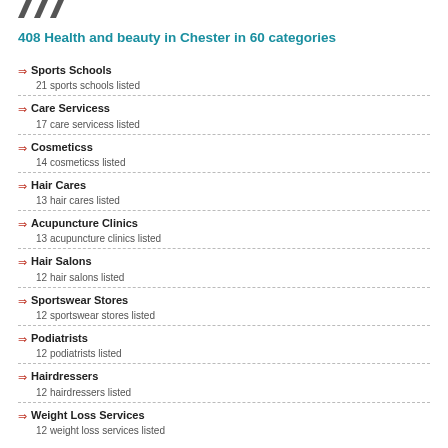[Figure (logo): Stylized logo marks (three diagonal shapes)]
408 Health and beauty in Chester in 60 categories
Sports Schools
21 sports schools listed
Care Servicess
17 care servicess listed
Cosmeticss
14 cosmeticss listed
Hair Cares
13 hair cares listed
Acupuncture Clinics
13 acupuncture clinics listed
Hair Salons
12 hair salons listed
Sportswear Stores
12 sportswear stores listed
Podiatrists
12 podiatrists listed
Hairdressers
12 hairdressers listed
Weight Loss Services
12 weight loss services listed